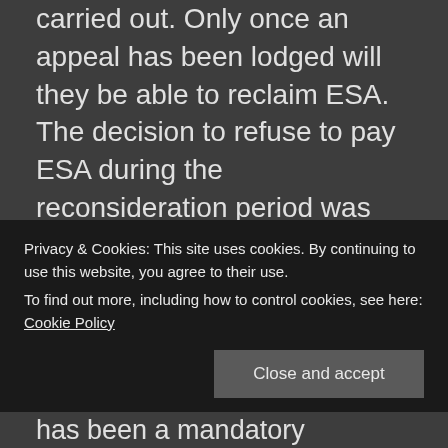carried out. Only once an appeal has been lodged will they be able to reclaim ESA. The decision to refuse to pay ESA during the reconsideration period was confirmed by Lord Freud on 13 February, when he told the House of Lords:
“I turn now to ESA. At the moment, if someone appeals a refusal of ESA, it
has been a mandatory
Privacy & Cookies: This site uses cookies. By continuing to use this website, you agree to their use.
To find out more, including how to control cookies, see here: Cookie Policy